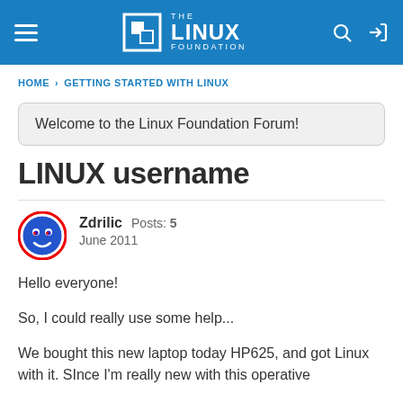THE LINUX FOUNDATION
HOME › GETTING STARTED WITH LINUX
Welcome to the Linux Foundation Forum!
LINUX username
Zdrilic  Posts: 5
June 2011
Hello everyone!

So, I could really use some help...

We bought this new laptop today HP625, and got Linux with it. SInce I'm really new with this operative